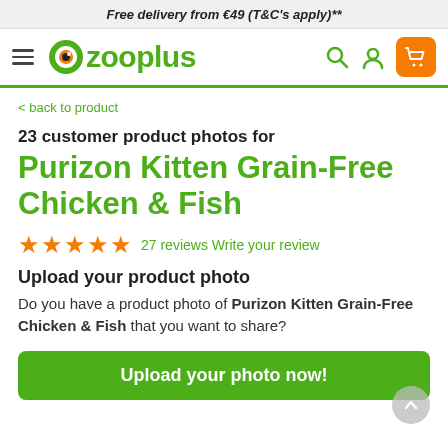Free delivery from €49 (T&C's apply)**
[Figure (logo): Zooplus logo with hamburger menu, search icon, user icon, and orange cart icon]
< back to product
23 customer product photos for
Purizon Kitten Grain-Free Chicken & Fish
★★★★★ 27 reviews Write your review
Upload your product photo
Do you have a product photo of Purizon Kitten Grain-Free Chicken & Fish that you want to share?
Upload your photo now!